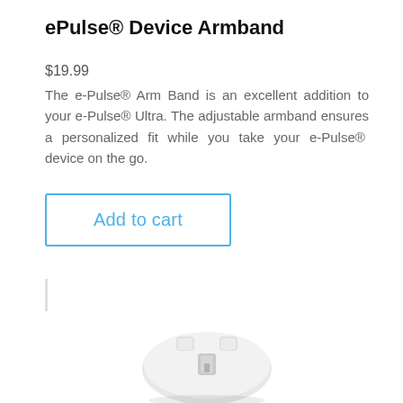ePulse® Device Armband
$19.99
The e-Pulse® Arm Band is an excellent addition to your e-Pulse® Ultra. The adjustable armband ensures a personalized fit while you take your e-Pulse®  device on the go.
[Figure (photo): Add to cart button with blue border and blue text on white background]
[Figure (photo): Product photo of ePulse Device Armband, showing a white plastic device/clip component viewed from above]